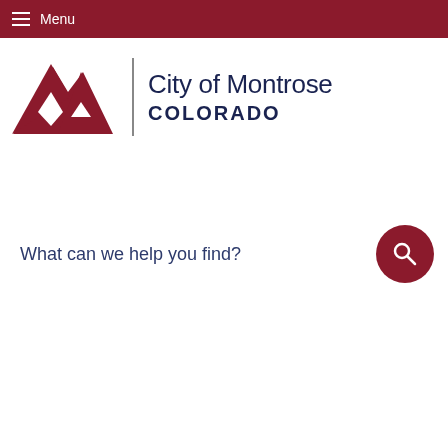Menu
[Figure (logo): City of Montrose Colorado logo with red mountain peaks icon and text]
What can we help you find?